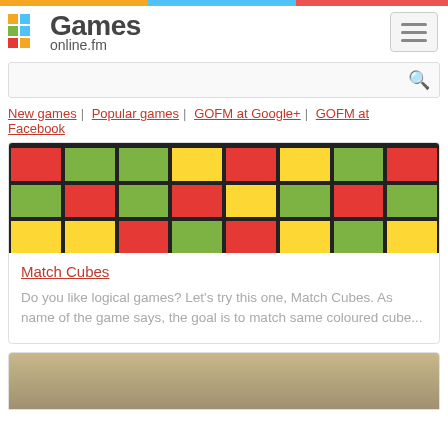Games online.fm
New games | Popular games | GOFM at Google+ | GOFM at Facebook
[Figure (screenshot): Match Cubes game screenshot showing a grid of red, green, and yellow colored squares separated by dark borders]
Match Cubes
Do you like logical games? Let's try this one, Match Cubes. As name of the game says, the goal is to match same coloured cube...
[Figure (screenshot): Partial screenshot of another game showing a blurred outdoor/military scene]